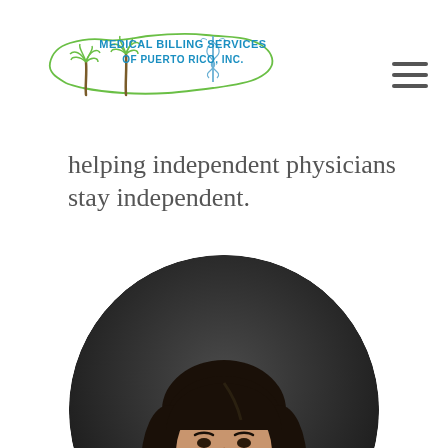[Figure (logo): Medical Billing Services of Puerto Rico, Inc. logo with Puerto Rico island outline in green, palm trees, and caduceus symbol. Text reads 'MEDICAL BILLING SERVICES OF PUERTO RICO, INC.' in blue.]
helping independent physicians stay independent.
[Figure (photo): Circular portrait photo of a smiling woman with dark shoulder-length hair against a dark background.]